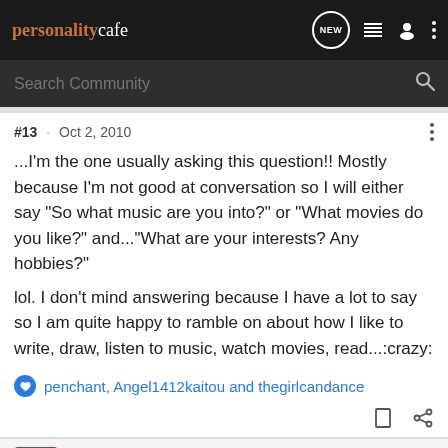personalitycafe — Search Community
#13 · Oct 2, 2010
...I'm the one usually asking this question!! Mostly because I'm not good at conversation so I will either say "So what music are you into?" or "What movies do you like?" and..."What are your interests? Any hobbies?"
lol. I don't mind answering because I have a lot to say so I am quite happy to ramble on about how I like to write, draw, listen to music, watch movies, read...:crazy:
penchant, Angel1412kaitou and thegirlcandance
MissNobody · Banned